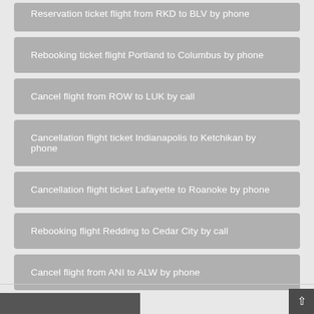Reservation ticket flight from RKD to BLV by phone
Rebooking ticket flight Portland to Columbus by phone
Cancel flight from ROW to LUK by call
Cancellation flight ticket Indianapolis to Ketchikan by phone
Cancellation flight ticket Lafayette to Roanoke by phone
Rebooking flight Redding to Cedar City by call
Cancel flight from ANI to ALW by phone